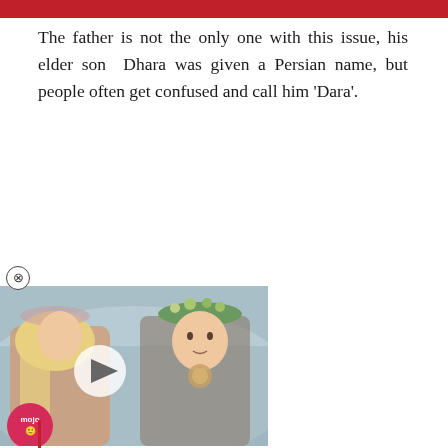The father is not the only one with this issue, his elder son Dhara was given a Persian name, but people often get confused and call him 'Dara'.
[Figure (screenshot): Video thumbnail showing two animated characters from an animated film — a blonde female and a male with a floral crown — in a snowy setting. A play button overlay is shown in the center. WatchMojo (mojo) branding badge appears in the bottom-left corner. A close (X) button appears above the video.]